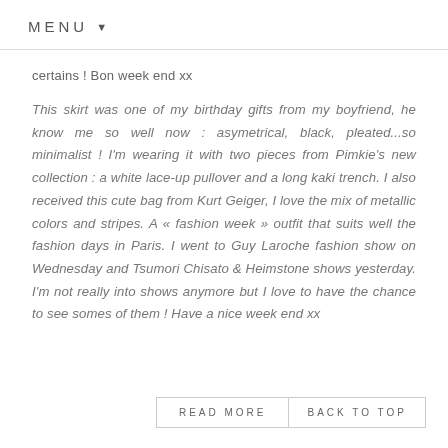MENU ▼
certains ! Bon week end xx
This skirt was one of my birthday gifts from my boyfriend, he know me so well now : asymetrical, black, pleated...so minimalist ! I'm wearing it with two pieces from Pimkie's new collection : a white lace-up pullover and a long kaki trench. I also received this cute bag from Kurt Geiger, I love the mix of metallic colors and stripes. A « fashion week » outfit that suits well the fashion days in Paris. I went to Guy Laroche fashion show on Wednesday and Tsumori Chisato & Heimstone shows yesterday. I'm not really into shows anymore but I love to have the chance to see somes of them !  Have a nice week end xx
READ MORE
BACK TO TOP